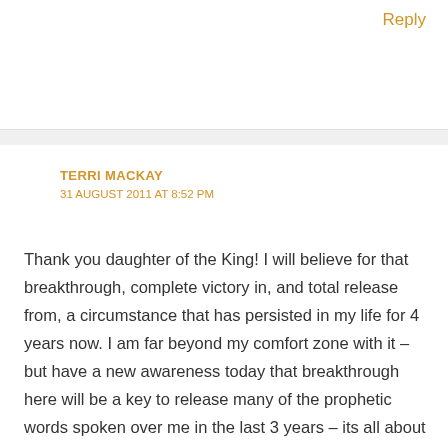Reply
TERRI MACKAY
31 AUGUST 2011 AT 8:52 PM
Thank you daughter of the King! I will believe for that breakthrough, complete victory in, and total release from, a circumstance that has persisted in my life for 4 years now. I am far beyond my comfort zone with it – but have a new awareness today that breakthrough here will be a key to release many of the prophetic words spoken over me in the last 3 years – its all about